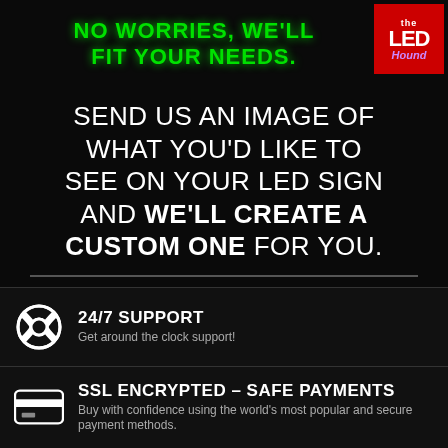NO WORRIES, WE'LL FIT YOUR NEEDS.
[Figure (logo): The LED Hound logo in red box with white and purple text]
SEND US AN IMAGE OF WHAT YOU'D LIKE TO SEE ON YOUR LED SIGN AND WE'LL CREATE A CUSTOM ONE FOR YOU.
WE ALSO DESIGN THEM FOR YOU FOR AN EXTRA FEE.
24/7 SUPPORT
Get around the clock support!
[Figure (illustration): Soccer/football life preserver ring icon]
SSL ENCRYPTED – SAFE PAYMENTS
Buy with confidence using the world's most popular and secure payment methods.
[Figure (illustration): Credit card icon]